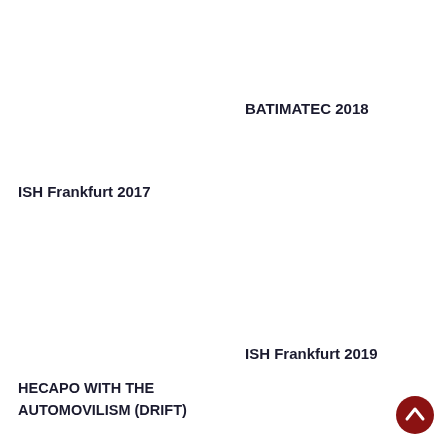BATIMATEC 2018
ISH Frankfurt 2017
ISH Frankfurt 2019
HECAPO WITH THE AUTOMOVILISM (DRIFT)